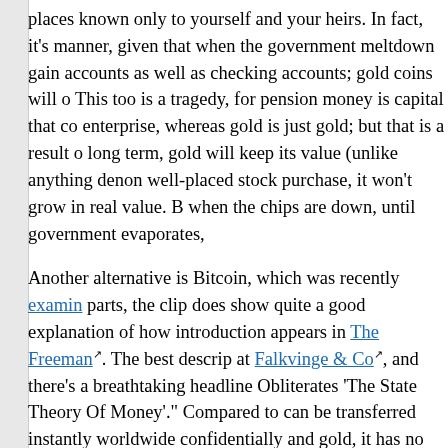places known only to yourself and your heirs. In fact, it's manner, given that when the government meltdown gain accounts as well as checking accounts; gold coins will o This too is a tragedy, for pension money is capital that co enterprise, whereas gold is just gold; but that is a result o long term, gold will keep its value (unlike anything denon well-placed stock purchase, it won't grow in real value. B when the chips are down, until government evaporates,
Another alternative is Bitcoin, which was recently examin parts, the clip does show quite a good explanation of how introduction appears in The Freeman. The best descrip at Falkvinge & Co, and there's a breathtaking headline Obliterates 'The State Theory Of Money'.' Compared to can be transferred instantly worldwide confidentially and gold, it has no inherent value and is vulnerable to hostile enough resources. I'd counsel caution, for that reason; it anonymous payments, less good for secure saving. But one good.
Happily, this bizarre situation is temporary. When enough their jobs, taxes will become uncollectible so the wages so inflation will gather a head of steam and then everyon currency and a safe haven for money. Some banks will b will collapse completely and the shells will be bought wh